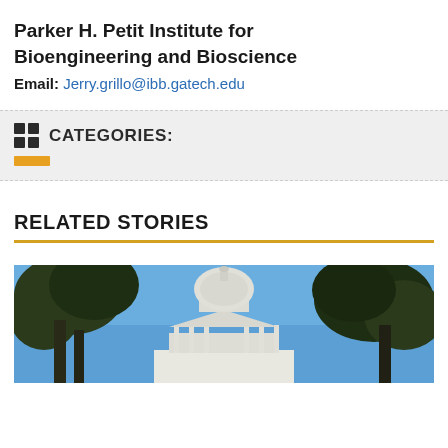Parker H. Petit Institute for Bioengineering and Bioscience
Email: Jerry.grillo@ibb.gatech.edu
CATEGORIES:
RELATED STORIES
[Figure (photo): Photo of the United States Capitol building dome visible through tree branches against a blue sky]